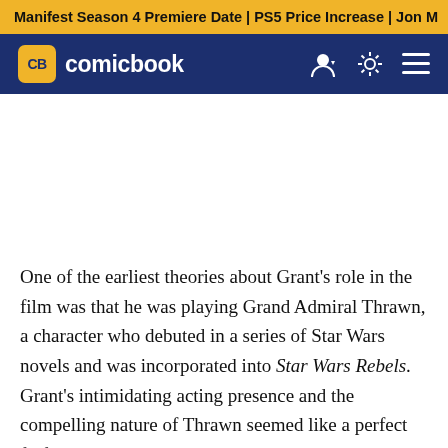Manifest Season 4 Premiere Date | PS5 Price Increase | Jon M
[Figure (logo): ComicBook.com logo with CB yellow badge and white text on dark navy navigation bar with user icon, brightness toggle, and hamburger menu]
One of the earliest theories about Grant's role in the film was that he was playing Grand Admiral Thrawn, a character who debuted in a series of Star Wars novels and was incorporated into Star Wars Rebels. Grant's intimidating acting presence and the compelling nature of Thrawn seemed like a perfect fit for the character's debut, though the actor has refuted those theories.